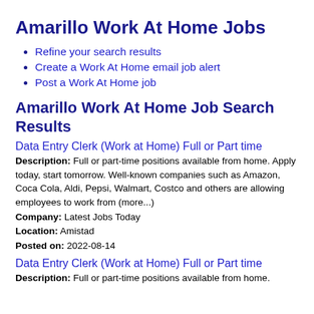Amarillo Work At Home Jobs
Refine your search results
Create a Work At Home email job alert
Post a Work At Home job
Amarillo Work At Home Job Search Results
Data Entry Clerk (Work at Home) Full or Part time
Description: Full or part-time positions available from home. Apply today, start tomorrow. Well-known companies such as Amazon, Coca Cola, Aldi, Pepsi, Walmart, Costco and others are allowing employees to work from (more...)
Company: Latest Jobs Today
Location: Amistad
Posted on: 2022-08-14
Data Entry Clerk (Work at Home) Full or Part time
Description: Full or part-time positions available from home.